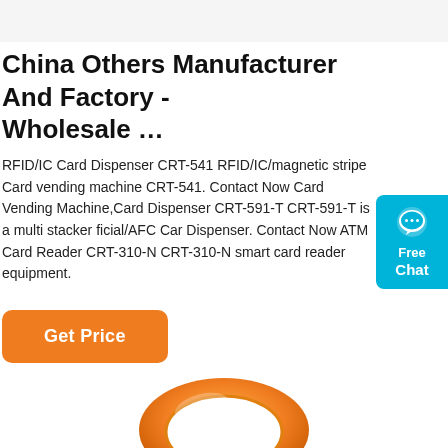China Others Manufacturer And Factory - Wholesale …
RFID/IC Card Dispenser CRT-541 RFID/IC/magnetic stripe Card vending machine CRT-541. Contact Now Card Vending Machine,Card Dispenser CRT-591-T CRT-591-T is a multi stacker ficial/AFC Card Dispenser. Contact Now ATM Card Reader CRT-310-N CRT-310-N smart card reader equipment.
[Figure (other): Orange silicone wristband/RFID wristband product photo, partially visible from bottom of frame]